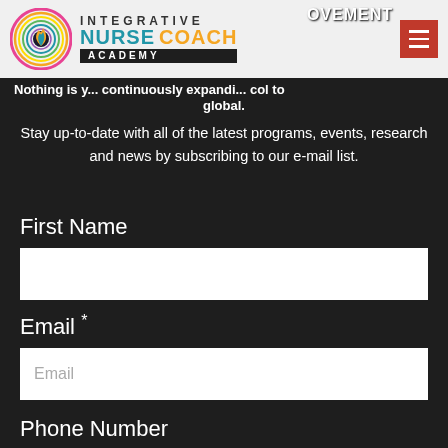[Figure (logo): Integrative Nurse Coach Academy logo with colorful circular emblem and text]
OVEMENT
Nothing is y... continuously expandi... col to global.
Stay up-to-date with all of the latest programs, events, research and news by subscribing to our e-mail list.
First Name
Email *
Phone Number